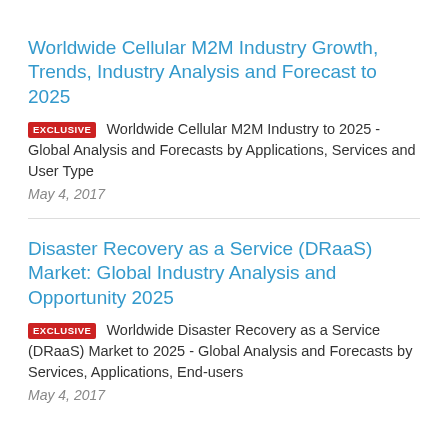Worldwide Cellular M2M Industry Growth, Trends, Industry Analysis and Forecast to 2025
EXCLUSIVE  Worldwide Cellular M2M Industry to 2025 - Global Analysis and Forecasts by Applications, Services and User Type
May 4, 2017
Disaster Recovery as a Service (DRaaS) Market: Global Industry Analysis and Opportunity 2025
EXCLUSIVE  Worldwide Disaster Recovery as a Service (DRaaS) Market to 2025 - Global Analysis and Forecasts by Services, Applications, End-users
May 4, 2017